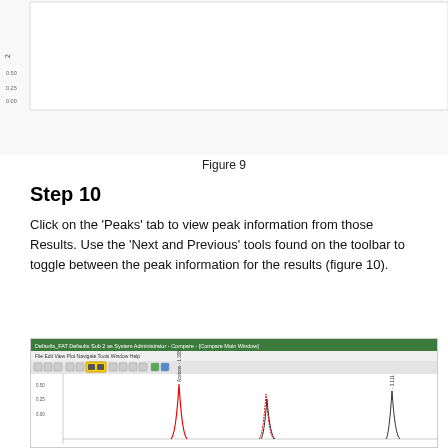[Figure (screenshot): Chromatogram screenshot showing Figure 9 - compare window with two results rows in a table, red and black overlaid peaks for Acetone ~1.3min, Acetonitrile ~2.1min, Propionamide ~3.1min]
Figure 9
Step 10
Click on the ‘Peaks’ tab to view peak information from those Results. Use the ‘Next and Previous’ tools found on the toolbar to toggle between the peak information for the results (figure 10).
[Figure (screenshot): Software screenshot showing Defaults_FAT Defaults Sub 2 as System Administrator - Compare - Compare Main Window, with toolbar highlighted in yellow, and a chromatogram below showing peaks for Acetone, and two other compounds]